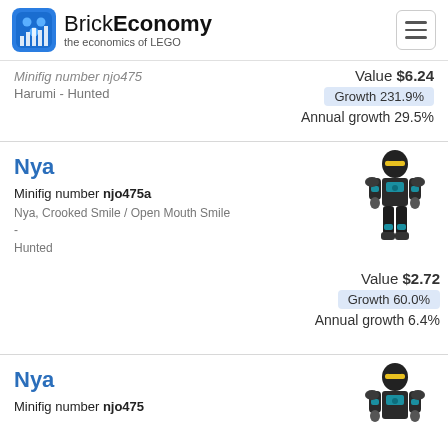BrickEconomy - the economics of LEGO
Minifig number njo475 / Harumi - Hunted | Value $6.24 | Growth 231.9% | Annual growth 29.5%
Nya
Minifig number njo475a
Nya, Crooked Smile / Open Mouth Smile - Hunted
Value $2.72 | Growth 60.0% | Annual growth 6.4%
Nya
Minifig number njo475